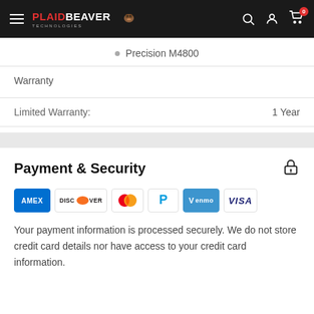PLAIDBEAVER TECHNOLOGIES — Navigation bar with hamburger menu, search, account, and cart (0 items)
Precision M4800
Warranty
|  |  |
| --- | --- |
| Limited Warranty: | 1 Year |
Payment & Security
[Figure (logo): Payment method logos: American Express, Discover, Mastercard, PayPal, Venmo, Visa]
Your payment information is processed securely. We do not store credit card details nor have access to your credit card information.